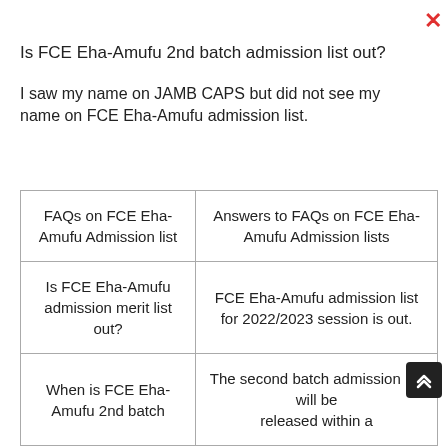Is FCE Eha-Amufu 2nd batch admission list out?
I saw my name on JAMB CAPS but did not see my name on FCE Eha-Amufu admission list.
| FAQs on FCE Eha-Amufu Admission list | Answers to FAQs on FCE Eha-Amufu Admission lists |
| --- | --- |
| Is FCE Eha-Amufu admission merit list out? | FCE Eha-Amufu admission list for 2022/2023 session is out. |
| When is FCE Eha-Amufu 2nd batch | The second batch admission list will be released within a |